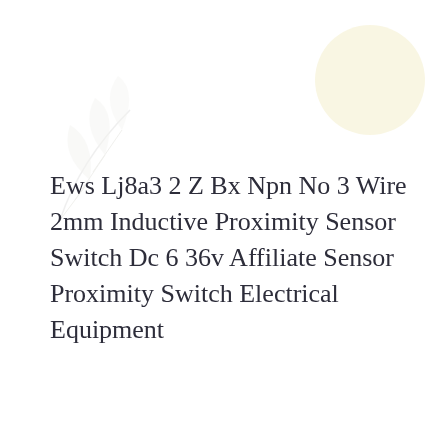[Figure (illustration): Faint decorative background illustration with floral/leaf motifs in light gray and a pale yellow circle, positioned in the upper portion of the page.]
Ews Lj8a3 2 Z Bx Npn No 3 Wire 2mm Inductive Proximity Sensor Switch Dc 6 36v Affiliate Sensor Proximity Switch Electrical Equipment